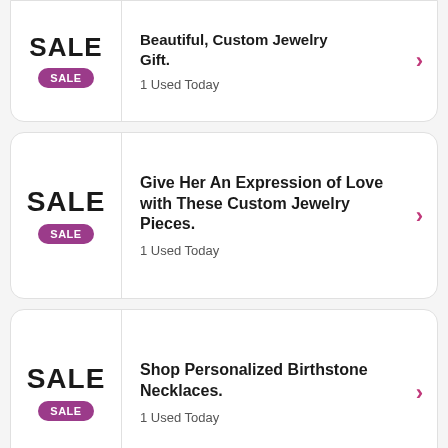[Figure (other): Partial coupon card at top - SALE badge with text about Beautiful Custom Jewelry Gift. 1 Used Today]
[Figure (other): Coupon card - SALE badge. Title: Give Her An Expression of Love with These Custom Jewelry Pieces. 1 Used Today]
[Figure (other): Coupon card - SALE badge. Title: Shop Personalized Birthstone Necklaces. 1 Used Today]
[Figure (other): Partial coupon card at bottom - SALE badge with partial text: Shop Custom Monogram]